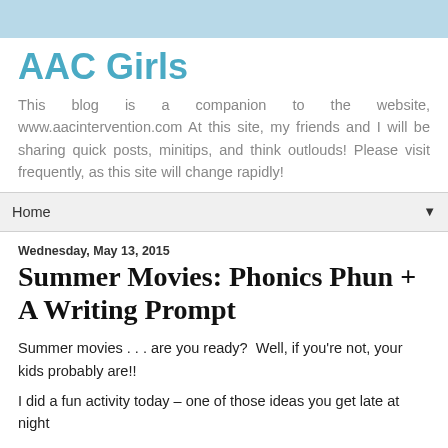AAC Girls
This blog is a companion to the website, www.aacintervention.com At this site, my friends and I will be sharing quick posts, minitips, and think outlouds! Please visit frequently, as this site will change rapidly!
Home
Wednesday, May 13, 2015
Summer Movies: Phonics Phun + A Writing Prompt
Summer movies . . . are you ready?  Well, if you're not, your kids probably are!!
I did a fun activity today – one of those ideas you get late at night